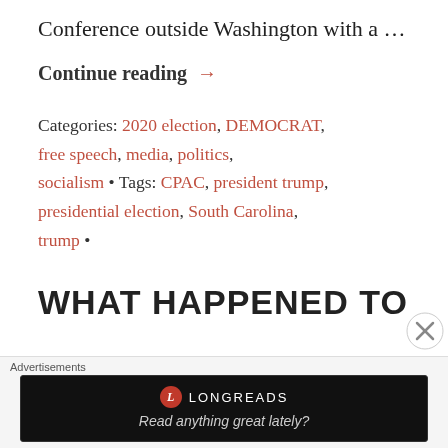Conference outside Washington with a …
Continue reading →
Categories: 2020 election, DEMOCRAT, free speech, media, politics, socialism • Tags: CPAC, president trump, presidential election, South Carolina, trump •
WHAT HAPPENED TO
Advertisements
LONGREADS — Read anything great lately?